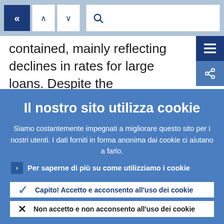[Figure (screenshot): Navigation bar with back arrow button (dark blue), up/down arrow buttons (white), and search box with magnifier icon]
contained, mainly reflecting declines in rates for large loans. Despite the
Il nostro sito utilizza cookie
Siamo costantemente impegnati a migliorare questo sito per i nostri utenti. I dati forniti in forma anonima dai cookie ci aiutano a farlo.
Per saperne di più su come utilizziamo i cookie
Capito! Accetto e acconsento all'uso dei cookie
Non accetto e non acconsento all'uso dei cookie